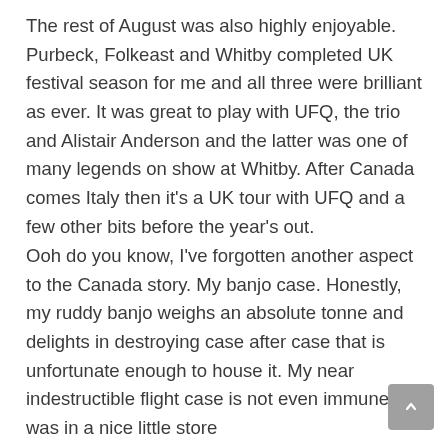The rest of August was also highly enjoyable. Purbeck, Folkeast and Whitby completed UK festival season for me and all three were brilliant as ever. It was great to play with UFQ, the trio and Alistair Anderson and the latter was one of many legends on show at Whitby. After Canada comes Italy then it's a UK tour with UFQ and a few other bits before the year's out.
Ooh do you know, I've forgotten another aspect to the Canada story. My banjo case. Honestly, my ruddy banjo weighs an absolute tonne and delights in destroying case after case that is unfortunate enough to house it. My near indestructible flight case is not even immune. I was in a nice little store